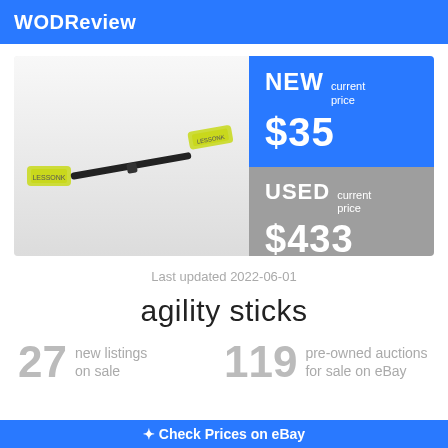WODReview
[Figure (photo): An agility stick — a long thin black rod with bright yellow-green ends, shown diagonally. The ends appear to be weighted yellow grips with text on them.]
NEW current price $35
USED current price $433
Last updated 2022-06-01
agility sticks
27 new listings on sale
119 pre-owned auctions for sale on eBay
Check Prices on eBay